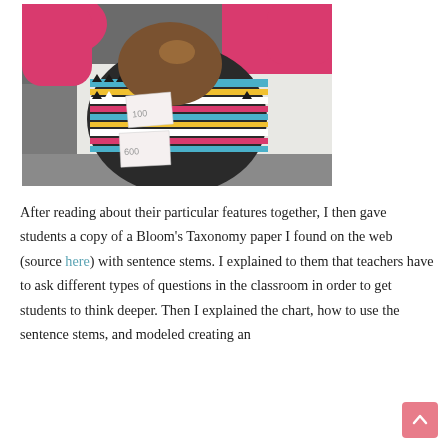[Figure (photo): Overhead/top-down photo of a young child with brown hair wearing a pink long-sleeve shirt and colorful patterned sweater/vest, leaning over a white table with small pieces of paper showing handwritten numbers (100, 600).]
After reading about their particular features together, I then gave students a copy of a Bloom's Taxonomy paper I found on the web (source here) with sentence stems. I explained to them that teachers have to ask different types of questions in the classroom in order to get students to think deeper. Then I explained the chart, how to use the sentence stems, and modeled creating an